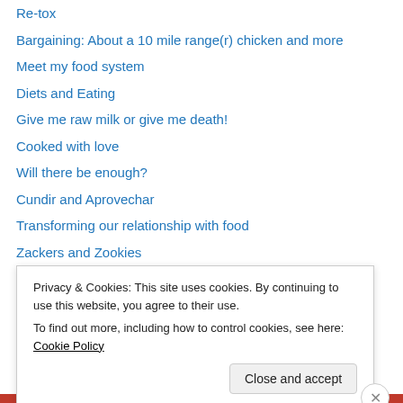Re-tox
Bargaining: About a 10 mile range(r) chicken and more
Meet my food system
Diets and Eating
Give me raw milk or give me death!
Cooked with love
Will there be enough?
Cundir and Aprovechar
Transforming our relationship with food
Zackers and Zookies
Local food at the local market
Our economy Our-selves
God at Good Cheer – Jars for a 10 mile winter
Privacy & Cookies: This site uses cookies. By continuing to use this website, you agree to their use. To find out more, including how to control cookies, see here: Cookie Policy
Close and accept